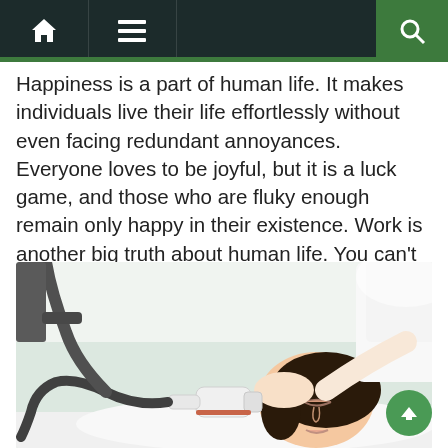Navigation bar with home, menu, and search icons
Happiness is a part of human life. It makes individuals live their life effortlessly without even facing redundant annoyances. Everyone loves to be joyful, but it is a luck game, and those who are fluky enough remain only happy in their existence. Work is another big truth about human life. You can't live without doing [...]
[Figure (photo): A woman lying on a treatment bed receiving a laser facial treatment from a practitioner in white. The practitioner holds a laser device against the woman's cheek while supporting her head. Medical/beauty spa setting with white background.]